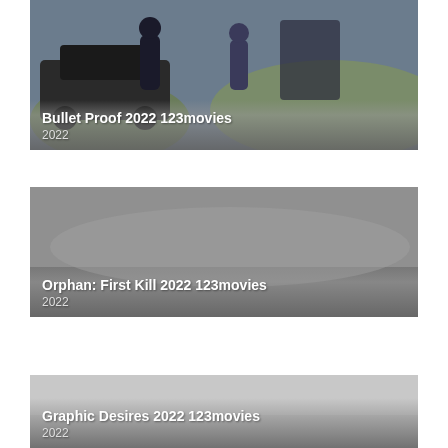[Figure (photo): Movie card for Bullet Proof 2022 showing people near a vehicle in a desert landscape]
Bullet Proof 2022 123movies
2022
[Figure (photo): Movie card for Orphan: First Kill 2022 showing a gray/muted background]
Orphan: First Kill 2022 123movies
2022
[Figure (photo): Movie card for Graphic Desires 2022 showing a light gray background]
Graphic Desires 2022 123movies
2022